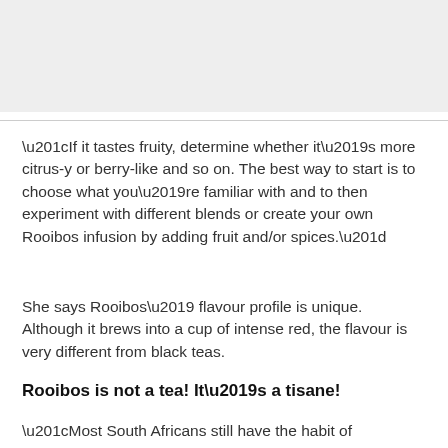[Figure (photo): Gray placeholder image area at top of page]
“If it tastes fruity, determine whether it’s more citrus-y or berry-like and so on. The best way to start is to choose what you’re familiar with and to then experiment with different blends or create your own Rooibos infusion by adding fruit and/or spices.”
She says Rooibos’ flavour profile is unique. Although it brews into a cup of intense red, the flavour is very different from black teas.
Rooibos is not a tea! It’s a tisane!
“Most South Africans still have the habit of